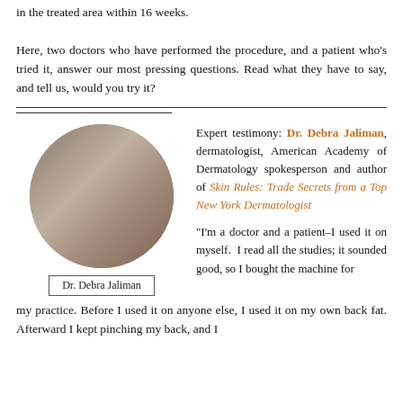in the treated area within 16 weeks.

Here, two doctors who have performed the procedure, and a patient who's tried it, answer our most pressing questions. Read what they have to say, and tell us, would you try it?
[Figure (photo): Circular portrait photo of Dr. Debra Jaliman with caption box below reading 'Dr. Debra Jaliman']
Expert testimony: Dr. Debra Jaliman, dermatologist, American Academy of Dermatology spokesperson and author of Skin Rules: Trade Secrets from a Top New York Dermatologist
“I’m a doctor and a patient–I used it on myself.  I read all the studies; it sounded good, so I bought the machine for my practice. Before I used it on anyone else, I used it on my own back fat. Afterward I kept pinching my back, and I